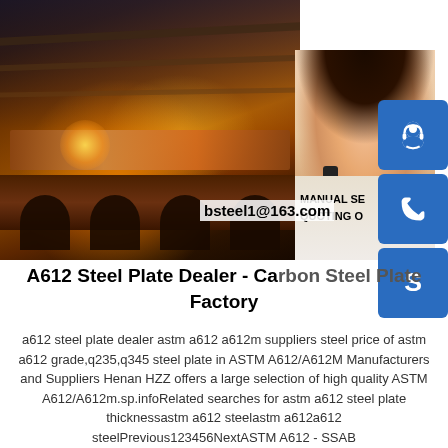[Figure (photo): Steel factory floor with rolling mill machinery, sparks and glowing hot steel plates. A female customer service representative with headset overlaid on the right side. Three blue icon boxes (headset/support, phone, Skype S logo) on the far right. Text overlays: 'MANUAL SE', 'QUOTING O', 'bsteel1@163.com'.]
A612 Steel Plate Dealer - Carbon Steel Plate Factory
a612 steel plate dealer astm a612 a612m suppliers steel price of astm a612 grade,q235,q345 steel plate in ASTM A612/A612M Manufacturers and Suppliers Henan HZZ offers a large selection of high quality ASTM A612/A612m.sp.infoRelated searches for astm a612 steel plate thicknessastm a612 steelastm a612a612 steelPrevious123456NextASTM A612 - SSAB...